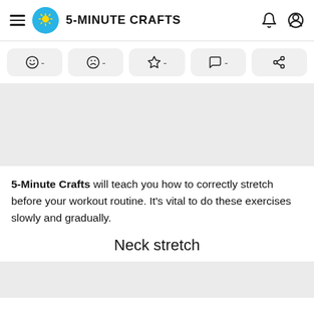5-MINUTE CRAFTS
[Figure (screenshot): Action bar with emoji, sad face, star, comment, and share icons each followed by a dash]
[Figure (photo): Gray placeholder content area]
5-Minute Crafts will teach you how to correctly stretch before your workout routine. It's vital to do these exercises slowly and gradually.
Neck stretch
[Figure (photo): Gray placeholder area at bottom]